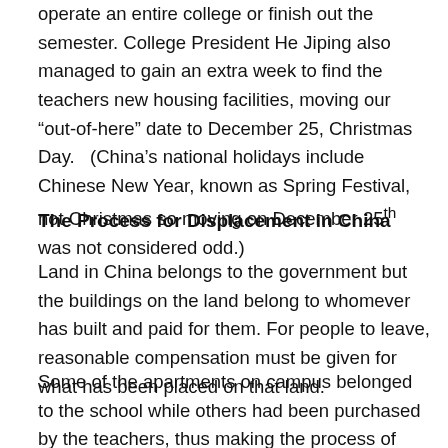operate an entire college or finish out the semester. College President He Jiping also managed to gain an extra week to find the teachers new housing facilities, moving our “out-of-here” date to December 25, Christmas Day.   (China’s national holidays include Chinese New Year, known as Spring Festival, not Christmas so moving on December 25th was not considered odd.)
The Process for Displacement in China
Land in China belongs to the government but the buildings on the land belong to whomever has built and paid for them. For people to leave, reasonable compensation must be given for what has been placed on that land.
Some of the apartments on campus belonged to the school while others had been purchased by the teachers, thus making the process of leaving a bit complicated. The